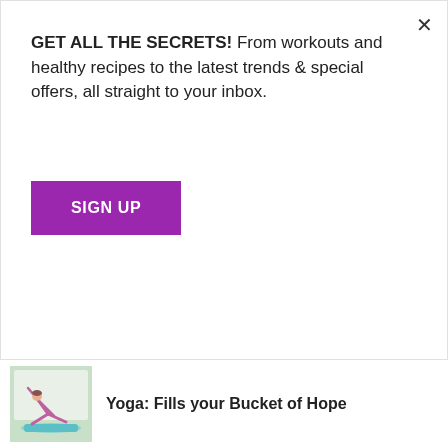GET ALL THE SECRETS! From workouts and healthy recipes to the latest trends & special offers, all straight to your inbox.
SIGN UP
juice concentrate, peanut butter and more, all squished together to make one awesome snack. Made using natural ingredients for lasting energy, rather than sugar-laden energy gels, the TREK bar is a filling and nourishing bar using only wholefood
Related Stories
Yoga: Fills your Bucket of Hope